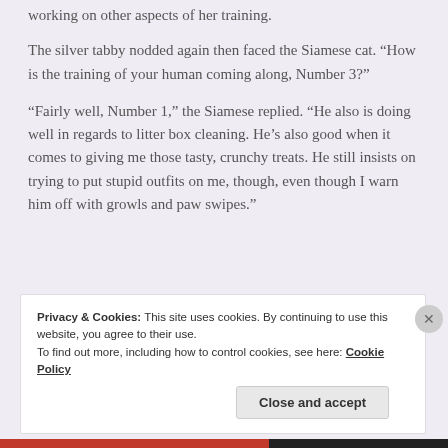working on other aspects of her training.
The silver tabby nodded again then faced the Siamese cat. “How is the training of your human coming along, Number 3?”
“Fairly well, Number 1,” the Siamese replied. “He also is doing well in regards to litter box cleaning. He’s also good when it comes to giving me those tasty, crunchy treats. He still insists on trying to put stupid outfits on me, though, even though I warn him off with growls and paw swipes.”
Privacy & Cookies: This site uses cookies. By continuing to use this website, you agree to their use.
To find out more, including how to control cookies, see here: Cookie Policy
Close and accept